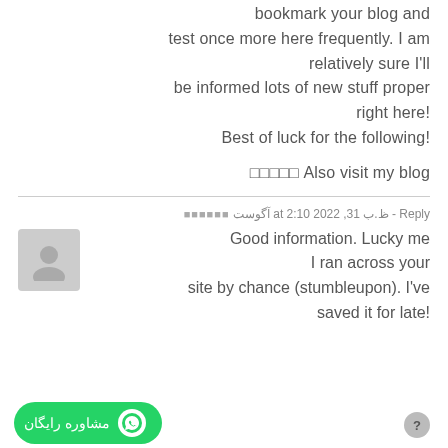bookmark your blog and test once more here frequently. I am relatively sure I'll be informed lots of new stuff proper right here! Best of luck for the following!
Also visit my blog ▪▪▪▪▪
▪▪▪▪▪▪ آگوست 31, 2022 at 2:10 ب.ظ - Reply
Good information. Lucky me I ran across your site by chance (stumbleupon). I've saved it for late!